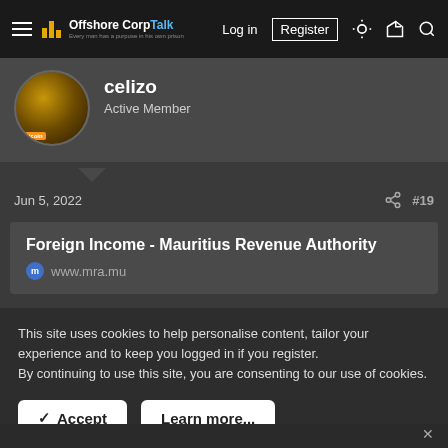Offshore Corp Talk | Log in | Register
celizo
Active Member
Jun 5, 2022  #19
Foreign Income - Mauritius Revenue Authority
www.mra.mu
This site uses cookies to help personalise content, tailor your experience and to keep you logged in if you register.
By continuing to use this site, you are consenting to our use of cookies.
Accept  Learn more...
[Figure (screenshot): Electronic Money Dubai advertisement banner with DLS Dubai logo and CLICK HERE button]